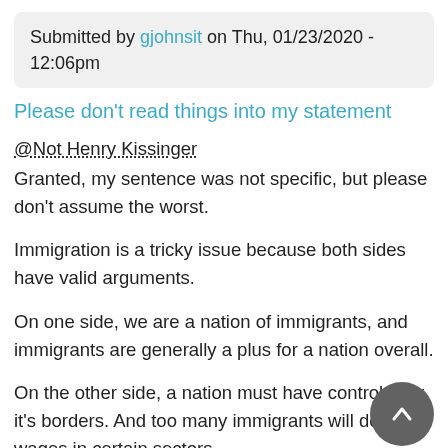Submitted by gjohnsit on Thu, 01/23/2020 - 12:06pm
Please don't read things into my statement
@Not Henry Kissinger
Granted, my sentence was not specific, but please don't assume the worst.
Immigration is a tricky issue because both sides have valid arguments.
On one side, we are a nation of immigrants, and immigrants are generally a plus for a nation overall.
On the other side, a nation must have control over it's borders. And too many immigrants will depress wages in certain sectors.